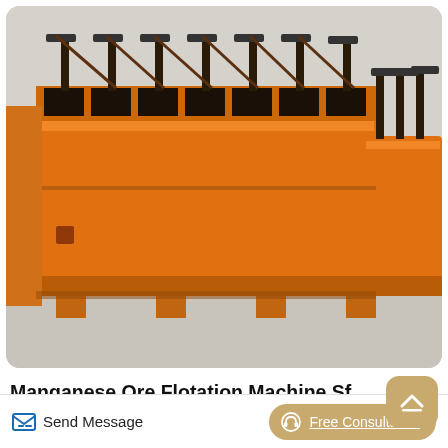[Figure (photo): Large orange industrial flotation machine with multiple cells/chambers, photographed in a factory/warehouse setting. The machine is rectangular and elongated with multiple black-lined compartments along the top.]
Manganese Ore Flotation Machine Sf 037
Manganese ore flotation machine sf 037_Concentrating table-Iron Ore BeneficiationFlotation machine. SF flotation also widely used when manganese ore. Before flotation tin time is generally 2 ^ -0. 037 mm, but the slime sense
Send Message
Free Consultation